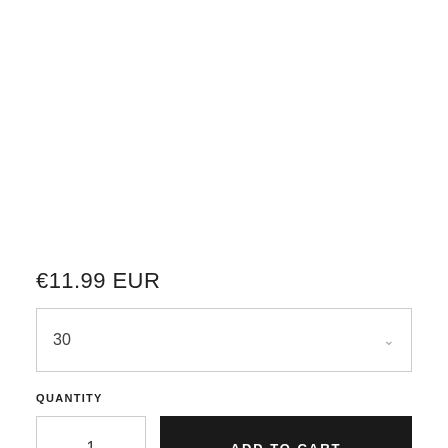€11.99 EUR
30
QUANTITY
1
ADD TO CART